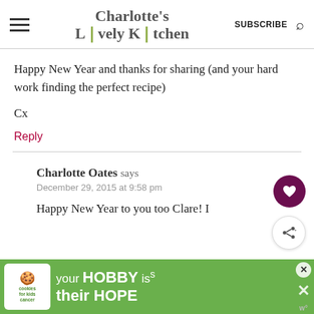Charlotte's Lively Kitchen
Happy New Year and thanks for sharing (and your hard work finding the perfect recipe)

Cx
Reply
Charlotte Oates says
December 29, 2015 at 9:58 pm
Happy New Year to you too Clare! I
[Figure (infographic): Advertisement banner: cookies for kids cancer with text 'your HOBBY is their HOPE']